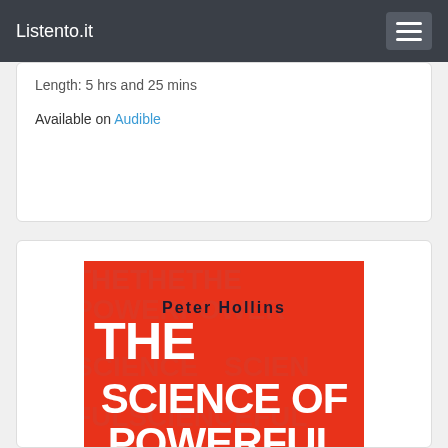Listento.it
Length: 5 hrs and 25 mins
Available on Audible
[Figure (illustration): Book cover of 'The Science of Powerful Focus' by Peter Hollins. Red background with repeating watermark text. Author name 'Peter Hollins' in black at top. Large white bold text reads 'THE SCIENCE OF POWERFUL' with 'FOCUS' partially visible at bottom.]